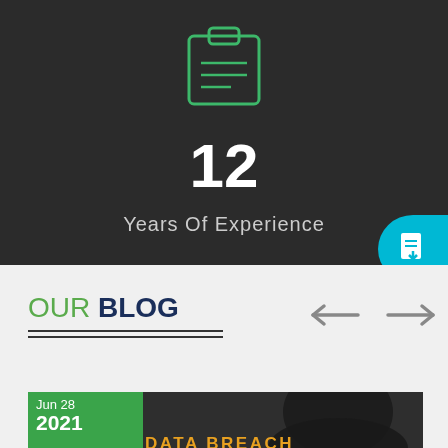[Figure (illustration): Green outline clipboard icon on dark background]
12
Years Of Experience
[Figure (illustration): Teal circular download button on right edge]
OUR BLOG
[Figure (illustration): Navigation arrows left and right]
[Figure (photo): Photo of a hooded figure, blog post thumbnail with date badge Jun 28 2021 and text DATA BREACH]